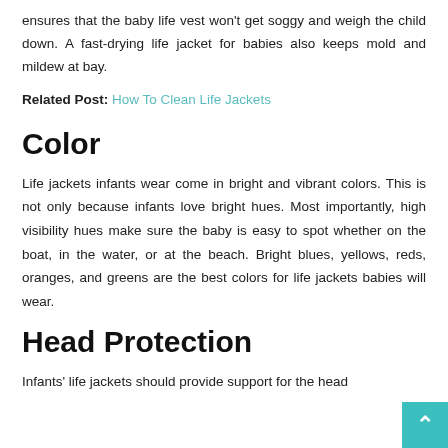ensures that the baby life vest won't get soggy and weigh the child down. A fast-drying life jacket for babies also keeps mold and mildew at bay.
Related Post: How To Clean Life Jackets
Color
Life jackets infants wear come in bright and vibrant colors. This is not only because infants love bright hues. Most importantly, high visibility hues make sure the baby is easy to spot whether on the boat, in the water, or at the beach. Bright blues, yellows, reds, oranges, and greens are the best colors for life jackets babies will wear.
Head Protection
Infants' life jackets should provide support for the head